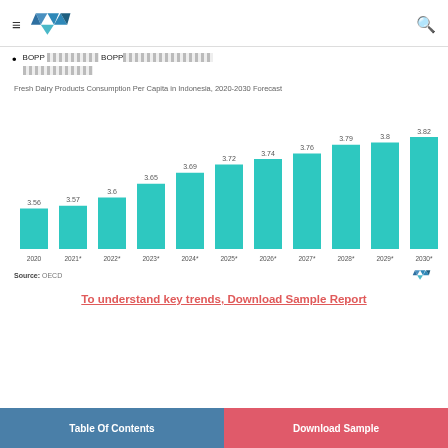MN [logo]
BOPP [garbled text] BOPP [garbled text]
[Figure (bar-chart): Fresh Dairy Products Consumption Per Capita in Indonesia, 2020-2030 Forecast]
Source: OECD
To understand key trends, Download Sample Report
Table Of Contents | Download Sample